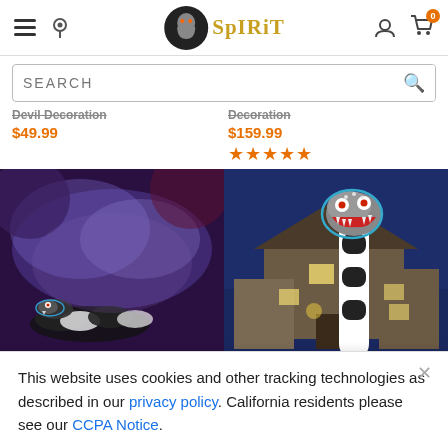Spirit Halloween website header with navigation icons (hamburger menu, location pin, Spirit logo, user icon, cart with 0 items)
SEARCH
Devil Decoration
$49.99
Decoration
$159.99
★★★★★
[Figure (photo): Inflatable snake Halloween decoration photographed outdoors at night with fog and purple/red lighting]
[Figure (photo): Inflatable snake/dragon Halloween decoration photographed in front of a house at night with blue sky]
This website uses cookies and other tracking technologies as described in our privacy policy. California residents please see our CCPA Notice.